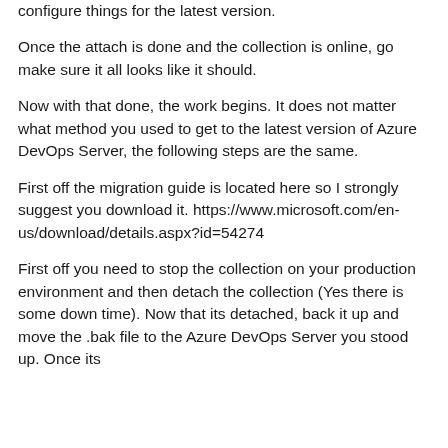configure things for the latest version.
Once the attach is done and the collection is online, go make sure it all looks like it should.
Now with that done, the work begins. It does not matter what method you used to get to the latest version of Azure DevOps Server, the following steps are the same.
First off the migration guide is located here so I strongly suggest you download it. https://www.microsoft.com/en-us/download/details.aspx?id=54274
First off you need to stop the collection on your production environment and then detach the collection (Yes there is some down time). Now that its detached, back it up and move the .bak file to the Azure DevOps Server you stood up. Once its